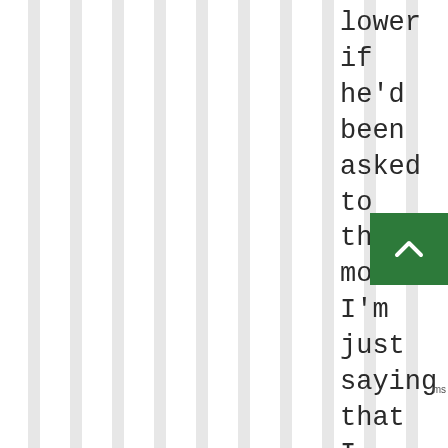[Figure (illustration): Vertical grey and white stripes pattern covering the left portion of the page]
lower if he'd been asked to throw more. I'm just saying that I think it would still have been
[Figure (other): Green square button with white upward-pointing chevron/arrow icon]